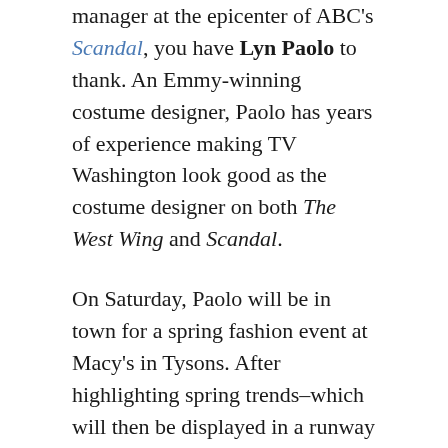manager at the epicenter of ABC's Scandal, you have Lyn Paolo to thank. An Emmy-winning costume designer, Paolo has years of experience making TV Washington look good as the costume designer on both The West Wing and Scandal.
On Saturday, Paolo will be in town for a spring fashion event at Macy's in Tysons. After highlighting spring trends–which will then be displayed in a runway show–Paolo will open the floor for a five-minute Q&A so fans can pose their burning power-look fashion questions. At the end of the formal...